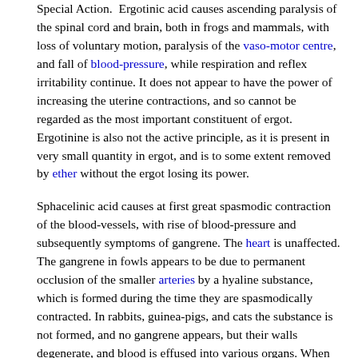Special Action. Ergotinic acid causes ascending paralysis of the spinal cord and brain, both in frogs and mammals, with loss of voluntary motion, paralysis of the vaso-motor centre, and fall of blood-pressure, while respiration and reflex irritability continue. It does not appear to have the power of increasing the uterine contractions, and so cannot be regarded as the most important constituent of ergot. Ergotinine is also not the active principle, as it is present in very small quantity in ergot, and is to some extent removed by ether without the ergot losing its power.
Sphacelinic acid causes at first great spasmodic contraction of the blood-vessels, with rise of blood-pressure and subsequently symptoms of gangrene. The heart is unaffected. The gangrene in fowls appears to be due to permanent occlusion of the smaller arteries by a hyaline substance, which is formed during the time they are spasmodically contracted. In rabbits, guinea-pigs, and cats the substance is not formed, and no gangrene appears, but their walls degenerate, and blood is effused into various organs. When brought into contact with the intestine, sphacelinic acid, or its sodium salt, causes an inflammatory condition resembling that of typhoid fever, and ergot should therefore be avoided in this disease. Sphacelinic acid causes totanus of the uterus (Robort). Cornutino causes spastic rigidity in